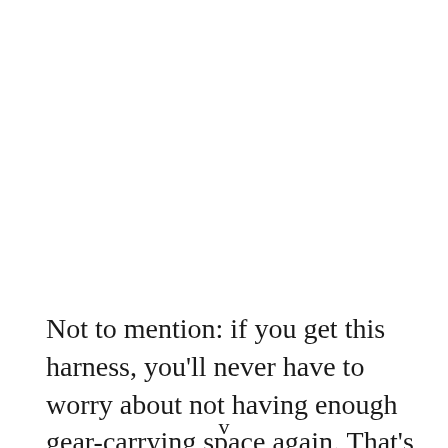Not to mention: if you get this harness, you'll never have to worry about not having enough gear-carrying space again. That's because it also has six gear loops.
v